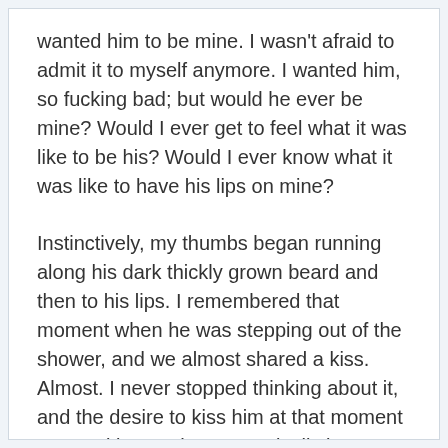wanted him to be mine. I wasn't afraid to admit it to myself anymore. I wanted him, so fucking bad; but would he ever be mine? Would I ever get to feel what it was like to be his? Would I ever know what it was like to have his lips on mine?
Instinctively, my thumbs began running along his dark thickly grown beard and then to his lips. I remembered that moment when he was stepping out of the shower, and we almost shared a kiss. Almost. I never stopped thinking about it, and the desire to kiss him at that moment was making my heart practically beat out of my chest.